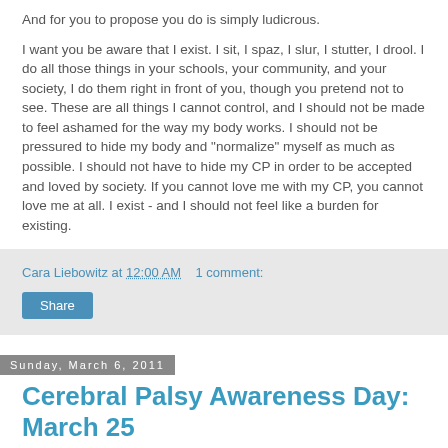And for you to propose you do is simply ludicrous.
I want you be aware that I exist. I sit, I spaz, I slur, I stutter, I drool. I do all those things in your schools, your community, and your society, I do them right in front of you, though you pretend not to see. These are all things I cannot control, and I should not be made to feel ashamed for the way my body works. I should not be pressured to hide my body and "normalize" myself as much as possible. I should not have to hide my CP in order to be accepted and loved by society. If you cannot love me with my CP, you cannot love me at all. I exist - and I should not feel like a burden for existing.
Cara Liebowitz at 12:00 AM   1 comment:
Share
Sunday, March 6, 2011
Cerebral Palsy Awareness Day: March 25